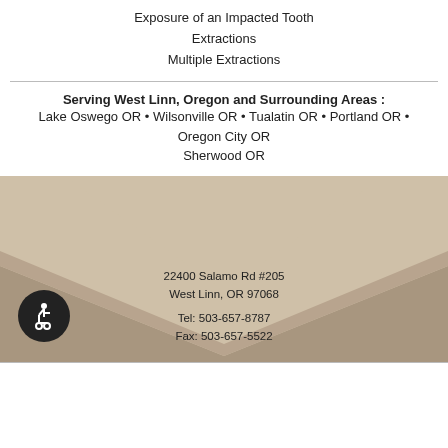Exposure of an Impacted Tooth
Extractions
Multiple Extractions
Serving West Linn, Oregon and Surrounding Areas : Lake Oswego OR • Wilsonville OR • Tualatin OR • Portland OR • Oregon City OR
Sherwood OR
22400 Salamo Rd #205
West Linn, OR 97068

Tel: 503-657-8787
Fax: 503-657-5522